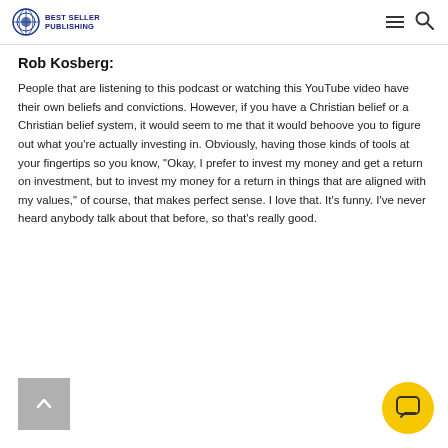Best Seller Publishing
Rob Kosberg:
People that are listening to this podcast or watching this YouTube video have their own beliefs and convictions. However, if you have a Christian belief or a Christian belief system, it would seem to me that it would behoove you to figure out what you're actually investing in. Obviously, having those kinds of tools at your fingertips so you know, “Okay, I prefer to invest my money and get a return on investment, but to invest my money for a return in things that are aligned with my values,” of course, that makes perfect sense. I love that. It’s funny. I’ve never heard anybody talk about that before, so that’s really good.